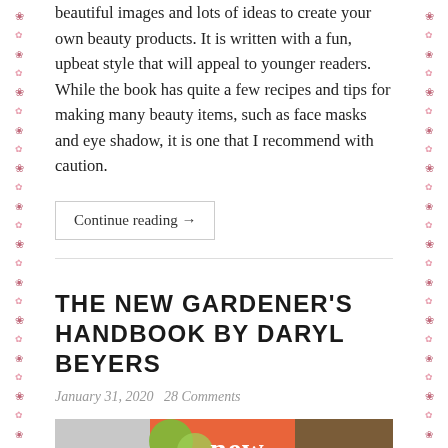beautiful images and lots of ideas to create your own beauty products. It is written with a fun, upbeat style that will appeal to younger readers. While the book has quite a few recipes and tips for making many beauty items, such as face masks and eye shadow, it is one that I recommend with caution.
Continue reading →
THE NEW GARDENER'S HANDBOOK BY DARYL BEYERS
January 31, 2020   28 Comments
[Figure (photo): Book cover image for The New Gardener's Handbook showing the word 'new' in white text on an orange background with green circles and a soil/plant photo section]